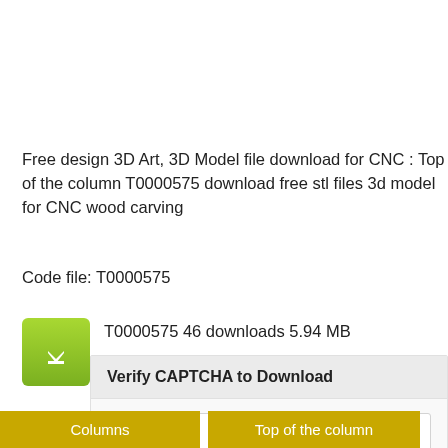Free design 3D Art, 3D Model file download for CNC : Top of the column T0000575 download free stl files 3d model for CNC wood carving
Code file: T0000575
T0000575 46 downloads 5.94 MB
[Figure (screenshot): reCAPTCHA widget with checkbox labeled 'I'm not a robot' and reCAPTCHA logo with Privacy and Terms links]
Verify CAPTCHA to Download
Columns
Top of the column